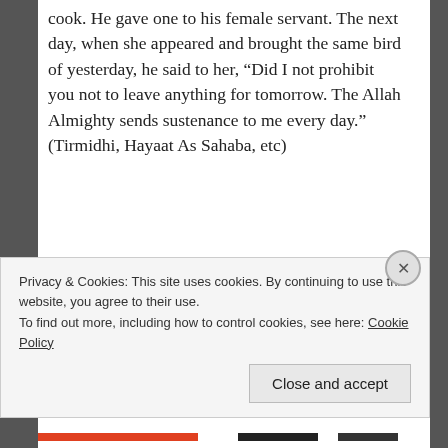cook. He gave one to his female servant. The next day, when she appeared and brought the same bird of yesterday, he said to her, “Did I not prohibit you not to leave anything for tomorrow. The Allah Almighty sends sustenance to me every day.” (Tirmidhi, Hayaat As Sahaba, etc)
What should be your thought when helping a poor person!
Privacy & Cookies: This site uses cookies. By continuing to use this website, you agree to their use.
To find out more, including how to control cookies, see here: Cookie Policy